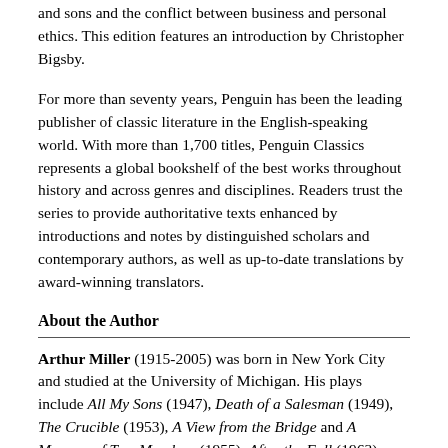and sons and the conflict between business and personal ethics. This edition features an introduction by Christopher Bigsby.
For more than seventy years, Penguin has been the leading publisher of classic literature in the English-speaking world. With more than 1,700 titles, Penguin Classics represents a global bookshelf of the best works throughout history and across genres and disciplines. Readers trust the series to provide authoritative texts enhanced by introductions and notes by distinguished scholars and contemporary authors, as well as up-to-date translations by award-winning translators.
About the Author
Arthur Miller (1915-2005) was born in New York City and studied at the University of Michigan. His plays include All My Sons (1947), Death of a Salesman (1949), The Crucible (1953), A View from the Bridge and A Memory of Two Mondays (1955), After the Fall (1963), Incident at Vichy (1964), The Price (1968), The Creation of the World and Other Business (1972) and The American Clock (1980). He also wrote two novels, Focus (1945), and The Misfits which became a film in 1960 and the text for...